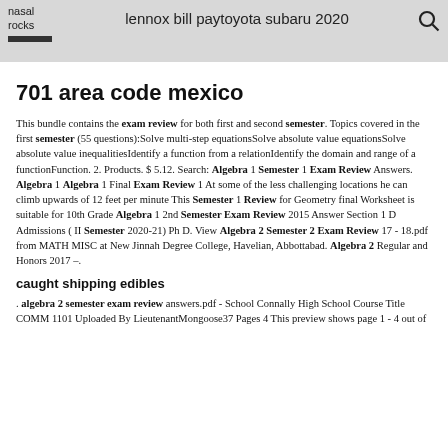nasal rocks | lennox bill pay toyota subaru 2020
701 area code mexico
This bundle contains the exam review for both first and second semester. Topics covered in the first semester (55 questions):Solve multi-step equationsSolve absolute value equationsSolve absolute value inequalitiesIdentify a function from a relationIdentify the domain and range of a functionFunction. 2. Products. $ 5.12. Search: Algebra 1 Semester 1 Exam Review Answers. Algebra 1 Algebra 1 Final Exam Review 1 At some of the less challenging locations he can climb upwards of 12 feet per minute This Semester 1 Review for Geometry final Worksheet is suitable for 10th Grade Algebra 1 2nd Semester Exam Review 2015 Answer Section 1 D Admissions ( II Semester 2020-21) Ph D. View Algebra 2 Semester 2 Exam Review 17 - 18.pdf from MATH MISC at New Jinnah Degree College, Havelian, Abbottabad. Algebra 2 Regular and Honors 2017 –.
caught shipping edibles
. algebra 2 semester exam review answers.pdf - School Connally High School Course Title COMM 1101 Uploaded By LieutenantMongoose37 Pages 4 This preview shows page 1 - 4 out of